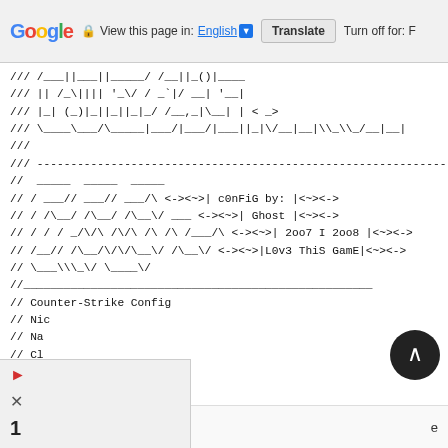Google | View this page in: English [v] | Translate | Turn off for: F
/// /___||___||_____/ /__||_()|____
/// || /_\|||| '_\/ / _`|/ __| '__|
/// |_| (_)|_||_||_|_/ /__,_|\__| | <_>
/// \____\___/\_____|___/|___/|___||_|\/__|__|\_\_/__|__|
///
/// -------------------------------------------------------------------
// _____ _____ _____
// / ___// ___// ___/\ <-><~>| c0nFiG by: |<~><->
// / /\__/ /\__/ /\__\/ ___ <-><~>| Ghost |<~><->
// / / / _/\/\ /\/\ /\ /\ /___/\ <-><~>| 2oo7 I 2oo8 |<~><->
// /__// /\__/\/\/\__\/ /\__\/ <-><~>|L0v3 ThiS GamE|<~><->
// \___\\_\/ \____\/ 
//____________________________________________________
// Counter-Strike Config
// Nic
// Na
// Cl
Ac                                                           e